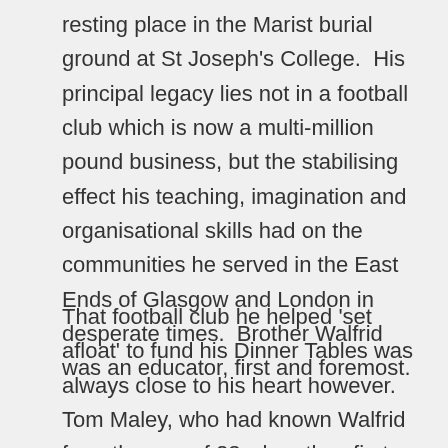resting place in the Marist burial ground at St Joseph's College. His principal legacy lies not in a football club which is now a multi-million pound business, but the stabilising effect his teaching, imagination and organisational skills had on the communities he served in the East Ends of Glasgow and London in desperate times. Brother Walfrid was an educator, first and foremost.
That football club he helped 'set afloat' to fund his Dinner Tables was always close to his heart however. Tom Maley, who had known Walfrid from the age of 23 when they first met in the weeks following that historic inaugural meeting